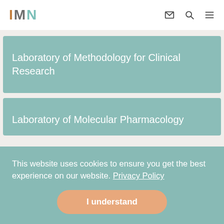IMN
Laboratory of Methodology for Clinical Research
Laboratory of Molecular Pharmacology
This website uses cookies to ensure you get the best experience on our website. Privacy Policy
I understand